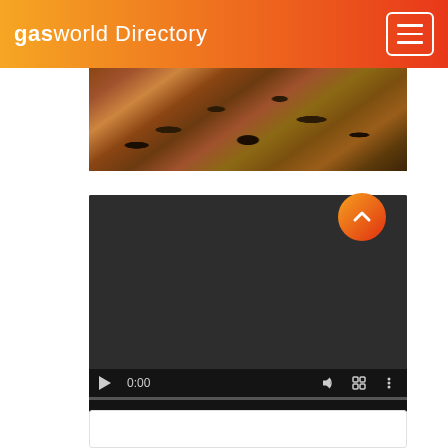gasworld Directory
[Figure (photo): Partial top image showing close-up of dark reddish-brown moss or lichen landscape]
[Figure (screenshot): Embedded video player with dark/black screen, showing controls: play button, time 0:00, volume icon, fullscreen icon, more options icon, and a progress bar at the bottom]
[Figure (other): Back-to-top button: circular orange-red gradient button with an upward chevron arrow]